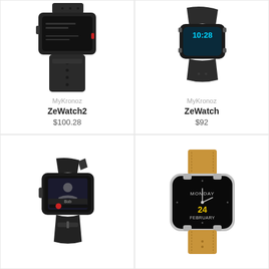[Figure (photo): MyKronoz ZeWatch2 black fitness tracker smartwatch]
MyKronoz
ZeWatch2
$100.28
[Figure (photo): MyKronoz ZeWatch dark smartwatch with digital display]
MyKronoz
ZeWatch
$92
[Figure (photo): Black smartwatch showing incoming call screen]
[Figure (photo): ASUS ZenWatch with tan leather strap showing Monday February 24]